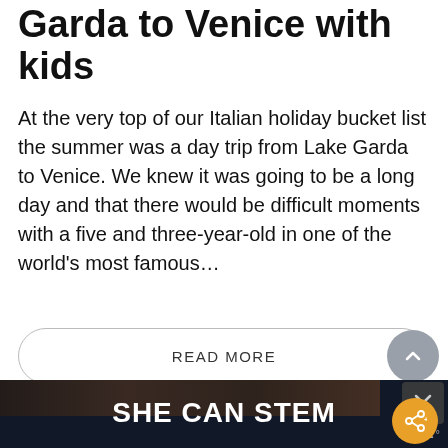Garda to Venice with kids
At the very top of our Italian holiday bucket list the summer was a day trip from Lake Garda to Venice. We knew it was going to be a long day and that there would be difficult moments with a five and three-year-old in one of the world’s most famous…
READ MORE
September 21, 2018  18 Comments
[Figure (photo): Bottom portion showing a photo strip with dark outdoor scene and an advertisement banner reading SHE CAN STEM with a close button]